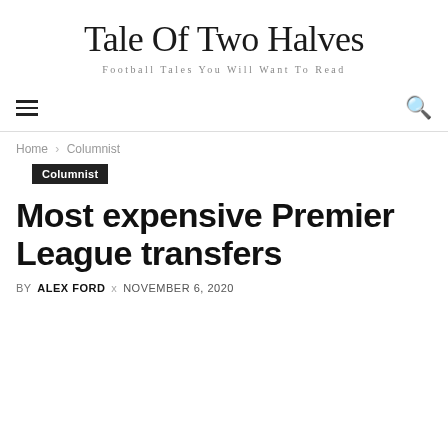Tale Of Two Halves
Football Tales You Will Want To Read
Home › Columnist
Columnist
Most expensive Premier League transfers
BY ALEX FORD  x  NOVEMBER 6, 2020